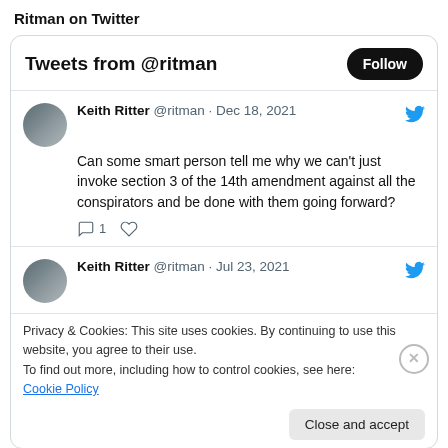Ritman on Twitter
Tweets from @ritman
Keith Ritter @ritman · Dec 18, 2021
Can some smart person tell me why we can't just invoke section 3 of the 14th amendment against all the conspirators and be done with them going forward?
1
Keith Ritter @ritman · Jul 23, 2021
Privacy & Cookies: This site uses cookies. By continuing to use this website, you agree to their use.
To find out more, including how to control cookies, see here: Cookie Policy
Close and accept